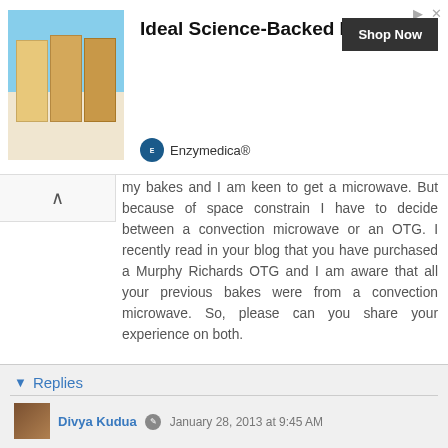[Figure (other): Advertisement banner for Enzymedica Ideal Science-Backed Formula with product images and Shop Now button]
my bakes and I am keen to get a microwave. But because of space constrain I have to decide between a convection microwave or an OTG. I recently read in your blog that you have purchased a Murphy Richards OTG and I am aware that all your previous bakes were from a convection microwave. So, please can you share your experience on both.
It would be a great help.
Thank you.
Warm Regards,
Ashwini.
Reply
Replies
Divya Kudua  January 28, 2013 at 9:45 AM